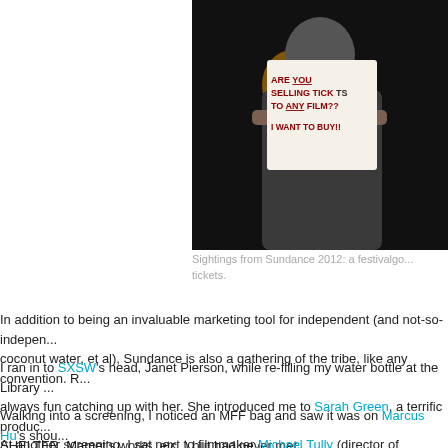[Figure (photo): A person holding up a handwritten sign in a dark outdoor setting. The sign reads: ARE YOU SELLING TICKETS TO ANY FILM?? I WANT TO BUY!! Background shows a light source (lamp or candle).]
Sightings from Sundance 2012: a festivalgo... tickets.
In addition to being an invaluable marketing tool for independent (and not-so-indepen... coconut water, et al), Sundance is also a gathering of the tribe, like any convention. R...
I ran in to SXSW's head, Janet Pierson, while re-filling my water bottle at the Library ... always fun catching up with her. She introduced me to Sarah Green, a terrific produc... SHELTER, Mamet's works, etc. ) but had never met.
Walking into a screening, I noticed an MFF bag and saw it was on Marcus Hu's shou... distributors. He introduced me to Carl Spence, Artistic Director of the Seattle Internat... contends with Toronto for title of Biggest Film Festival in North America.
At another screening, I sat next to filmmaker Michael Tully (director of SEPTIEN) a...